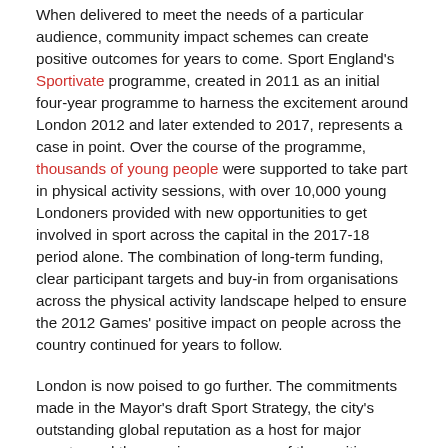When delivered to meet the needs of a particular audience, community impact schemes can create positive outcomes for years to come. Sport England's Sportivate programme, created in 2011 as an initial four-year programme to harness the excitement around London 2012 and later extended to 2017, represents a case in point. Over the course of the programme, thousands of young people were supported to take part in physical activity sessions, with over 10,000 young Londoners provided with new opportunities to get involved in sport across the capital in the 2017-18 period alone. The combination of long-term funding, clear participant targets and buy-in from organisations across the physical activity landscape helped to ensure the 2012 Games' positive impact on people across the country continued for years to follow.
London is now poised to go further. The commitments made in the Mayor's draft Sport Strategy, the city's outstanding global reputation as a host for major events, and the growing awareness of the positive social impact opportunities presented by sport points to an exciting